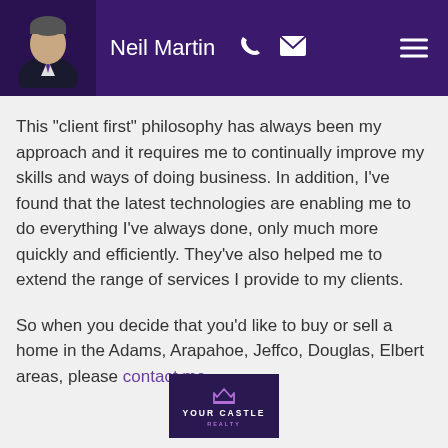Neil Martin
This "client first" philosophy has always been my approach and it requires me to continually improve my skills and ways of doing business. In addition, I've found that the latest technologies are enabling me to do everything I've always done, only much more quickly and efficiently. They've also helped me to extend the range of services I provide to my clients.
So when you decide that you'd like to buy or sell a home in the Adams, Arapahoe, Jeffco, Douglas, Elbert areas, please contact me.
[Figure (logo): Your Castle Realty logo — dark purple background with a crown/castle icon and text 'YOUR CASTLE REALTY']